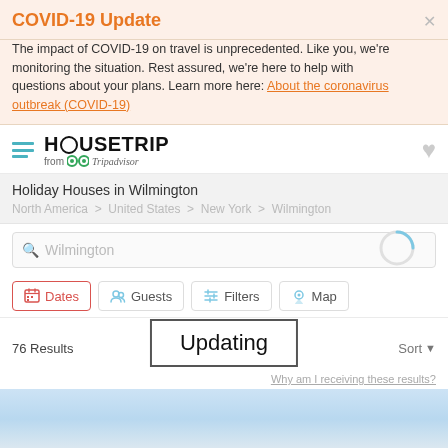COVID-19 Update
The impact of COVID-19 on travel is unprecedented. Like you, we're monitoring the situation. Rest assured, we're here to help with questions about your plans. Learn more here: About the coronavirus outbreak (COVID-19)
[Figure (logo): HouseTrip from Tripadvisor logo with hamburger menu icon]
Holiday Houses in Wilmington
North America > United States > New York > Wilmington
[Figure (screenshot): Search box with 'Wilmington' text and loading spinner]
Dates  Guests  Filters  Map
76 Results
Updating
Sort
Why am I receiving these results?
[Figure (photo): Partial view of a sky/outdoor listing photo at the bottom]